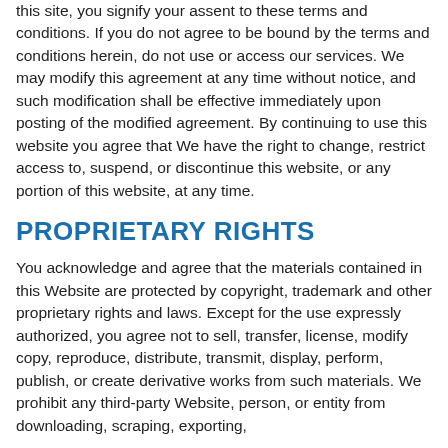this site, you signify your assent to these terms and conditions. If you do not agree to be bound by the terms and conditions herein, do not use or access our services. We may modify this agreement at any time without notice, and such modification shall be effective immediately upon posting of the modified agreement. By continuing to use this website you agree that We have the right to change, restrict access to, suspend, or discontinue this website, or any portion of this website, at any time.
PROPRIETARY RIGHTS
You acknowledge and agree that the materials contained in this Website are protected by copyright, trademark and other proprietary rights and laws. Except for the use expressly authorized, you agree not to sell, transfer, license, modify copy, reproduce, distribute, transmit, display, perform, publish, or create derivative works from such materials. We prohibit any third-party Website, person, or entity from downloading, scraping, exporting,